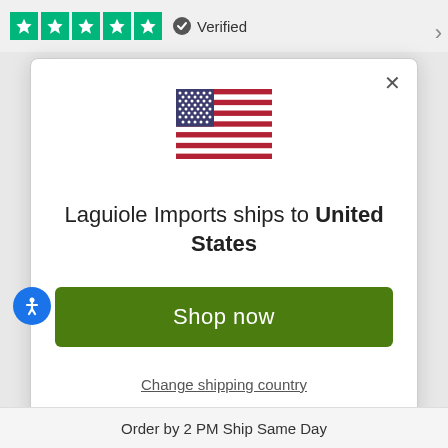[Figure (screenshot): Five green star rating icons followed by a checkmark 'Verified' label in the top bar]
[Figure (illustration): United States flag SVG illustration centered in the modal dialog]
Laguiole Imports ships to United States
Shop in USD $
Get shipping options for United States
Shop now
Change shipping country
Order by 2 PM Ship Same Day